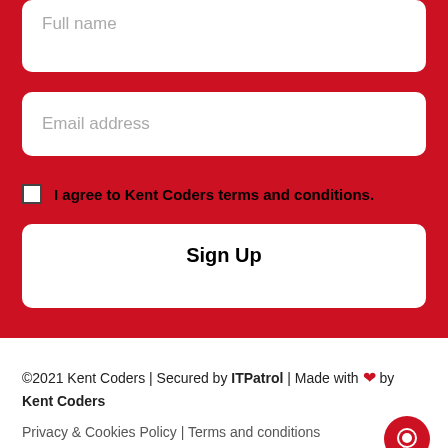Full name
Email address
I agree to Kent Coders terms and conditions.
Sign Up
©2021 Kent Coders | Secured by ITPatrol | Made with ❤ by Kent Coders
Privacy & Cookies Policy | Terms and conditions